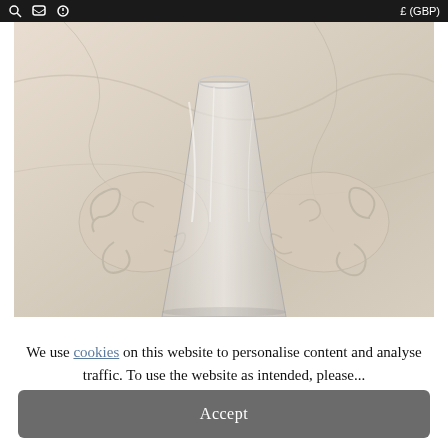£ (GBP)
[Figure (photo): A clear glass vase with a flared top, photographed against a beige/cream marble or plaster decorative background with ornate scroll/acanthus leaf relief details.]
We use cookies on this website to personalise content and analyse traffic. To use the website as intended, please...
Accept